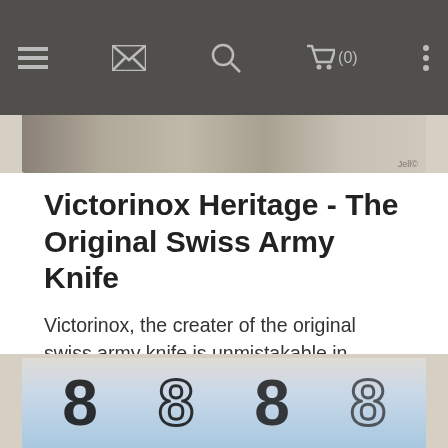[Figure (screenshot): Navigation bar with menu icon, mail icon, search icon, cart icon showing (0), and more options dots]
[Figure (photo): Top portion of a product image showing Swiss Army Knife related items]
Victorinox Heritage - The Original Swiss Army Knife
Victorinox, the creater of the original swiss army knife is unmistakable in design and a must carry tool for any outdoorsman.
Read the full article »
[Figure (photo): Bottom product image showing closeup of knife/tool packaging with large numbers visible]